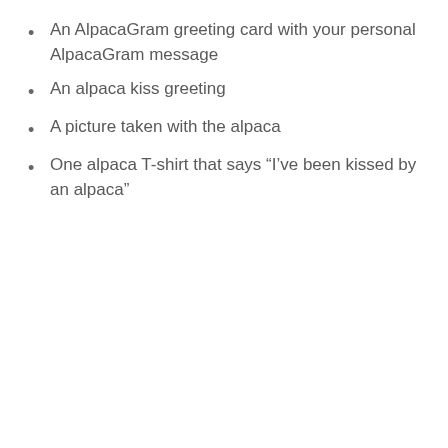An AlpacaGram greeting card with your personal AlpacaGram message
An alpaca kiss greeting
A picture taken with the alpaca
One alpaca T-shirt that says “I’ve been kissed by an alpaca”